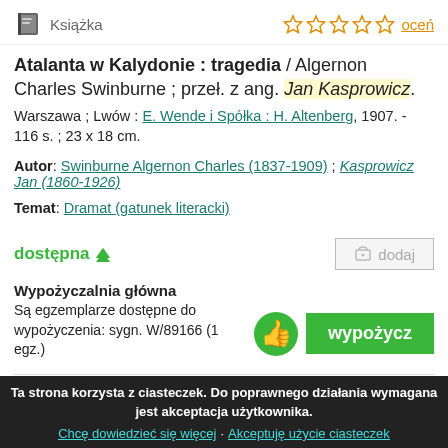Książka
Atalanta w Kalydonie : tragedia / Algernon Charles Swinburne ; przeł. z ang. Jan Kasprowicz. Warszawa ; Lwów : E. Wende i Spółka : H. Altenberg, 1907. - 116 s. ; 23 x 18 cm.
Autor: Swinburne Algernon Charles (1837-1909) ; Kasprowicz Jan (1860-1926)
Temat: Dramat (gatunek literacki)
dostępna
dodaj
Wypożyczalnia główna
Są egzemplarze dostępne do wypożyczenia: sygn. W/89166 (1 egz.)
wypożycz
Ta strona korzysta z ciasteczek. Do poprawnego działania wymagana jest akceptacja użytkownika. Chcę dowiedzieć się więcej · Akceptuję użycie ciasteczek